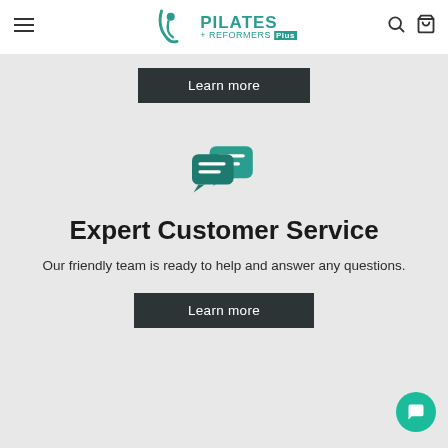Pilates + Reformers Plus
Learn more
[Figure (illustration): Two overlapping chat bubble icons in teal color]
Expert Customer Service
Our friendly team is ready to help and answer any questions.
Learn more